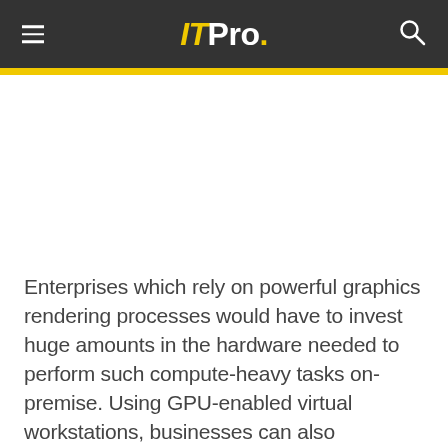ITPro.
Enterprises which rely on powerful graphics rendering processes would have to invest huge amounts in the hardware needed to perform such compute-heavy tasks on-premise. Using GPU-enabled virtual workstations, businesses can also